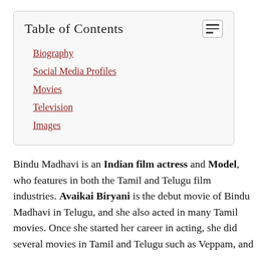Biography
Social Media Profiles
Movies
Television
Images
Bindu Madhavi is an Indian film actress and Model, who features in both the Tamil and Telugu film industries. Avaikai Biryani is the debut movie of Bindu Madhavi in Telugu, and she also acted in many Tamil movies. Once she started her career in acting, she did several movies in Tamil and Telugu such as Veppam, and